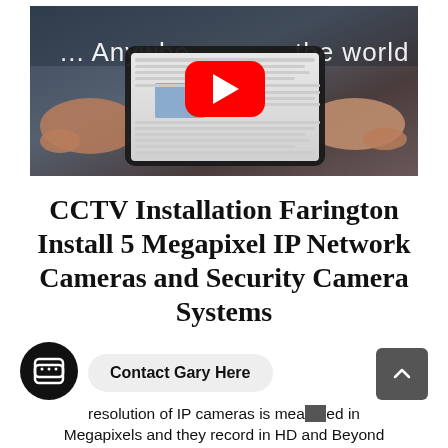[Figure (screenshot): YouTube video thumbnail showing a person holding a tablet outdoors with text '... Anywhere the world' and a YouTube play button overlay]
CCTV Installation Farington Install 5 Megapixel IP Network Cameras and Security Camera Systems
Contact Gary Here
resolution of IP cameras is measured in Megapixels and they record in HD and Beyond